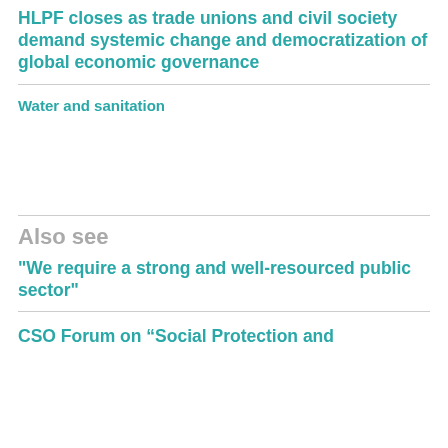HLPF closes as trade unions and civil society demand systemic change and democratization of global economic governance
Water and sanitation
Also see
"We require a strong and well-resourced public sector"
CSO Forum on “Social Protection and